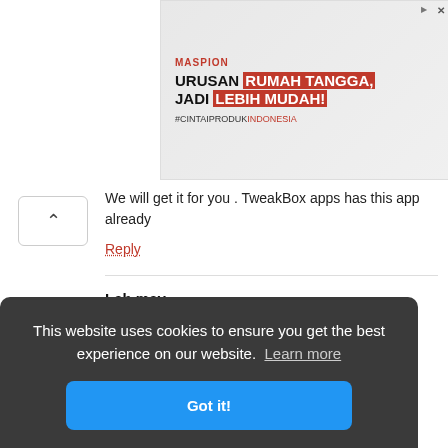[Figure (illustration): Maspion advertisement banner with text 'URUSAN RUMAH TANGGA, JADI LEBIH MUDAH!' and household appliances images]
We will get it for you . TweakBox apps has this app already
Reply
Lah may
September 4, 2018
I really want it
Reply
TweakBox Team
This website uses cookies to ensure you get the best experience on our website. Learn more
Got it!